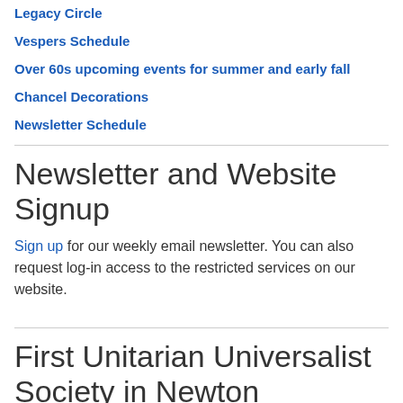Legacy Circle
Vespers Schedule
Over 60s upcoming events for summer and early fall
Chancel Decorations
Newsletter Schedule
Newsletter and Website Signup
Sign up for our weekly email newsletter. You can also request log-in access to the restricted services on our website.
First Unitarian Universalist Society in Newton